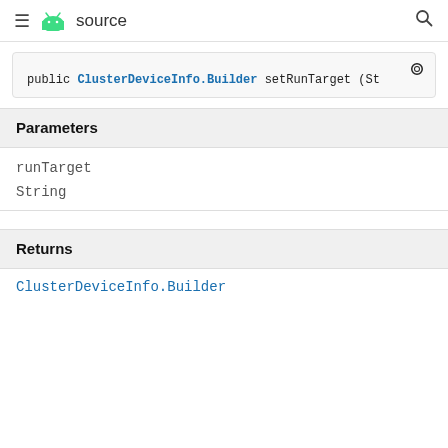≡ [android] source  🔍
public ClusterDeviceInfo.Builder setRunTarget (St
Parameters
runTarget
String
Returns
ClusterDeviceInfo.Builder